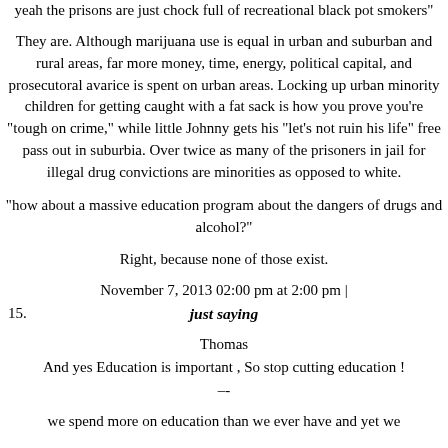yeah the prisons are just chock full of recreational black pot smokers"
They are. Although marijuana use is equal in urban and suburban and rural areas, far more money, time, energy, political capital, and prosecutoral avarice is spent on urban areas. Locking up urban minority children for getting caught with a fat sack is how you prove you're "tough on crime," while little Johnny gets his "let's not ruin his life" free pass out in suburbia. Over twice as many of the prisoners in jail for illegal drug convictions are minorities as opposed to white.
"how about a massive education program about the dangers of drugs and alcohol?"
Right, because none of those exist.
November 7, 2013 02:00 pm at 2:00 pm |
15.	just saying
Thomas
And yes Education is important , So stop cutting education !
--
we spend more on education than we ever have and yet we